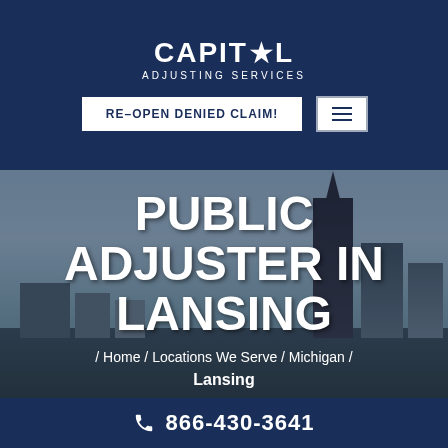[Figure (logo): Capital Adjusting Services logo with star replacing the A in CAPITAL, white text on dark navy background]
RE-OPEN DENIED CLAIM!
[Figure (screenshot): City skyline aerial photograph used as hero background showing urban buildings and skyscrapers]
PUBLIC ADJUSTER IN LANSING
/ Home / Locations We Serve / Michigan /
Lansing
866-430-3641